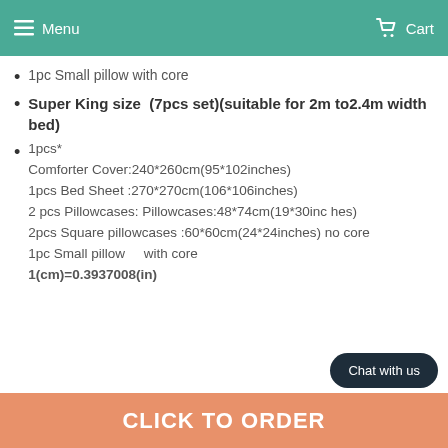Menu   Cart
1pc Small pillow with core
Super King size (7pcs set)(suitable for 2m to2.4m width bed)
1pcs* Comforter Cover:240*260cm(95*102inches) 1pcs Bed Sheet :270*270cm(106*106inches) 2 pcs Pillowcases: Pillowcases:48*74cm(19*30inches) 2pcs Square pillowcases :60*60cm(24*24inches) no core 1pc Small pillow with core 1(cm)=0.3937008(in)
Chat with us
CLICK TO ORDER